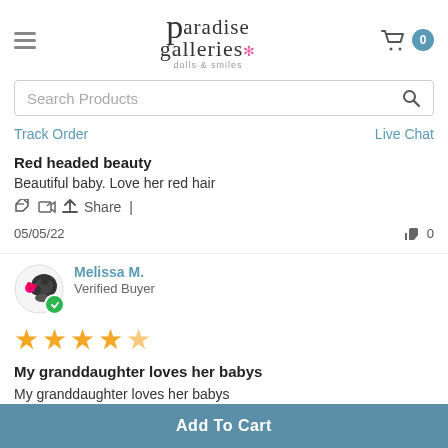Paradise Galleries dolls & smiles
Search Products
Track Order | Live Chat
Red headed beauty
Beautiful baby. Love her red hair
Share |
05/05/22
0
Melissa M. Verified Buyer
[Figure (illustration): Star rating: 4 out of 5 stars in gold/yellow]
My granddaughter loves her babys
My granddaughter loves her babys